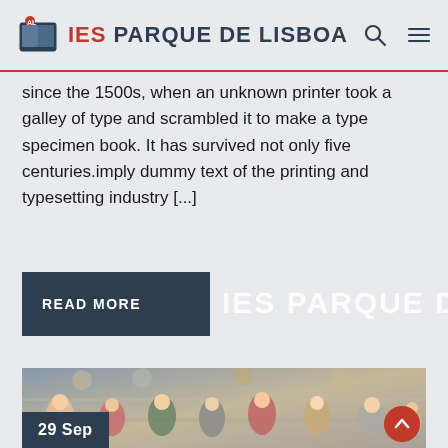IES PARQUE DE LISBOA
since the 1500s, when an unknown printer took a galley of type and scrambled it to make a type specimen book. It has survived not only five centuries.imply dummy text of the printing and typesetting industry [...]
READ MORE
IES PARQUE DE LISBOA
[Figure (photo): Students sitting in rows in a lecture hall or exam room, looking down at their desks, studying or writing. Multiple young people visible, various clothing colors.]
29 Sep